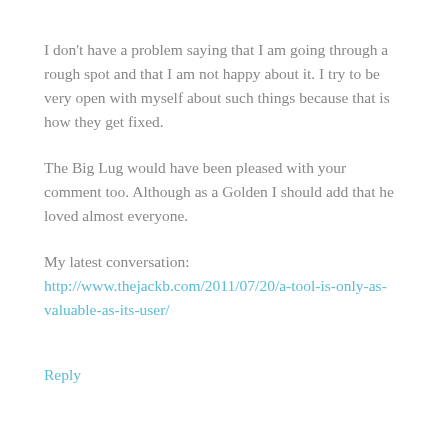I don't have a problem saying that I am going through a rough spot and that I am not happy about it. I try to be very open with myself about such things because that is how they get fixed.
The Big Lug would have been pleased with your comment too. Although as a Golden I should add that he loved almost everyone.
My latest conversation:
http://www.thejackb.com/2011/07/20/a-tool-is-only-as-valuable-as-its-user/
Reply